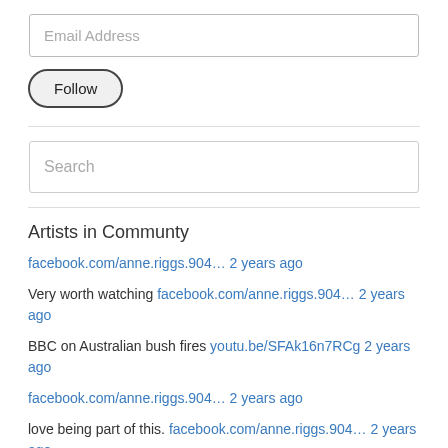Email Address
Follow
Search
Artists in Communty
facebook.com/anne.riggs.904… 2 years ago
Very worth watching facebook.com/anne.riggs.904… 2 years ago
BBC on Australian bush fires youtu.be/SFAk16n7RCg 2 years ago
facebook.com/anne.riggs.904… 2 years ago
love being part of this. facebook.com/anne.riggs.904… 2 years ago